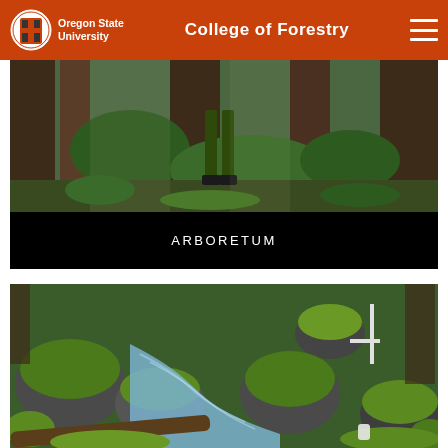Oregon State University — College of Forestry
[Figure (photo): Forest scene showing lower legs and boots of a person standing among tall trees with ferns and green vegetation]
ARBORETUM
[Figure (photo): A mossy forest stream with rocks covered in green moss, ferns, and scientific measurement equipment visible]